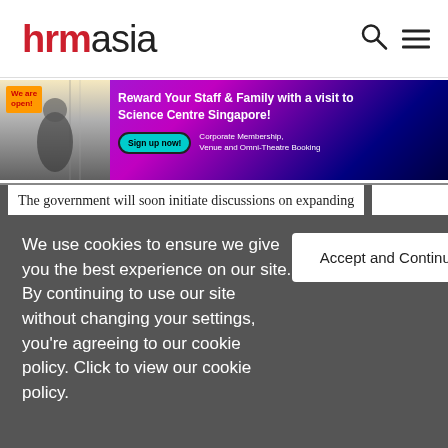hrmasia
[Figure (infographic): Banner advertisement: Reward Your Staff & Family with a visit to Science Centre Singapore! Sign up now! Corporate Membership, Venue and Omni-Theatre Booking. We are open!]
The government will soon initiate discussions on expanding
We use cookies to ensure we give you the best experience on our site. By continuing to use our site without changing your settings, you're agreeing to our cookie policy. Click to view our cookie policy.
Accept and Continue